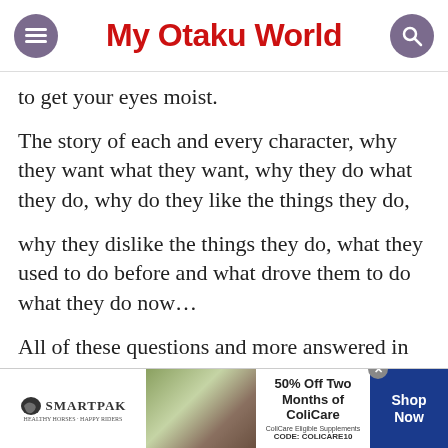My Otaku World
to get your eyes moist.
The story of each and every character, why they want what they want, why they do what they do, why do they like the things they do,
why they dislike the things they do, what they used to do before and what drove them to do what they do now…
All of these questions and more answered in an impeccable manner with unmatched
[Figure (screenshot): SmartPak advertisement banner: 50% Off Two Months of ColiCare, ColiCare Eligible Supplements, CODE: COLICARE10, Shop Now button]